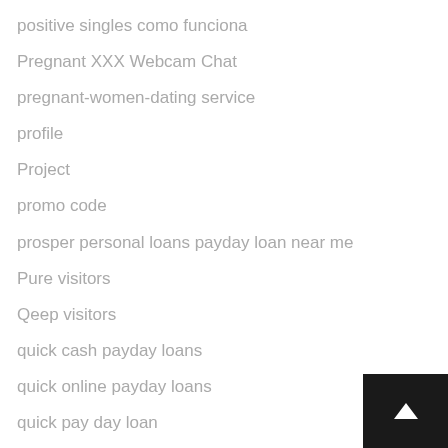positive singles como funciona
Pregnant XXX Webcam Chat
pregnant-women-dating service
profile
Project
promo code
prosper personal loans payday loan near me
Pure visitors
Qeep visitors
quick cash payday loans
quick online payday loans
quick pay day loan